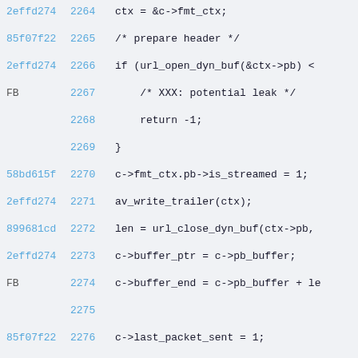2effd274 2264    ctx = &c->fmt_ctx;
85f07f22 2265    /* prepare header */
2effd274 2266    if (url_open_dyn_buf(&ctx->pb) <
FB       2267        /* XXX: potential leak */
2268        return -1;
2269    }
58bd615f 2270    c->fmt_ctx.pb->is_streamed = 1;
2effd274 2271    av_write_trailer(ctx);
899681cd 2272    len = url_close_dyn_buf(ctx->pb,
2effd274 2273    c->buffer_ptr = c->pb_buffer;
FB       2274    c->buffer_end = c->pb_buffer + le
2275
85f07f22 2276    c->last_packet_sent = 1;
FB       2277    break;
2278    }
2279    return 0;